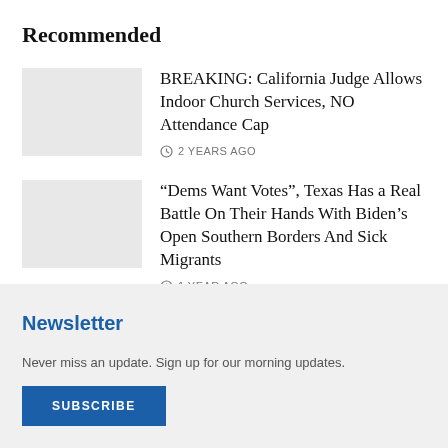Recommended
BREAKING: California Judge Allows Indoor Church Services, NO Attendance Cap
2 YEARS AGO
“Dems Want Votes”, Texas Has a Real Battle On Their Hands With Biden’s Open Southern Borders And Sick Migrants
1 YEAR AGO
Newsletter
Never miss an update. Sign up for our morning updates.
SUBSCRIBE